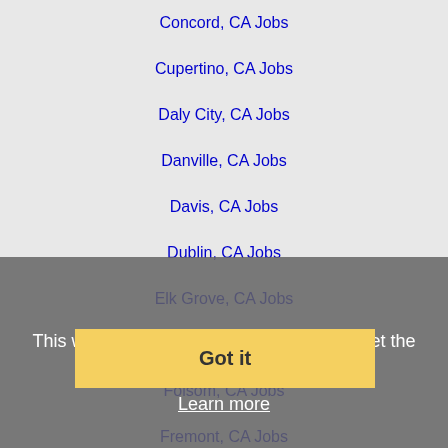Concord, CA Jobs
Cupertino, CA Jobs
Daly City, CA Jobs
Danville, CA Jobs
Davis, CA Jobs
Dublin, CA Jobs
Elk Grove, CA Jobs
Fairfield, CA Jobs
Folsom, CA Jobs
Fremont, CA Jobs
Hayward, CA Jobs
Laguna, CA Jobs
Lincoln, CA Jobs
Livermore, CA Jobs
Lodi, CA Jobs
Madera, CA Jobs
Milpitas, CA Jobs
Modesto, CA Jobs
This website uses cookies to ensure you get the best experience on our website.
Learn more
Got it